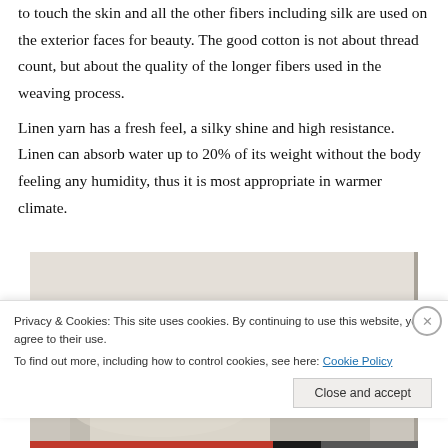to touch the skin and all the other fibers including silk are used on the exterior faces for beauty. The good cotton is not about thread count, but about the quality of the longer fibers used in the weaving process.
Linen yarn has a fresh feel, a silky shine and high resistance. Linen can absorb water up to 20% of its weight without the body feeling any humidity, thus it is most appropriate in warmer climate.
[Figure (photo): Photo of light-colored fabric or linen textile, showing soft folds against a light background]
Privacy & Cookies: This site uses cookies. By continuing to use this website, you agree to their use.
To find out more, including how to control cookies, see here: Cookie Policy
Close and accept